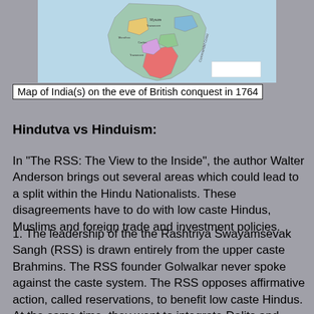[Figure (map): Map of India on the eve of British conquest in 1764, showing different regions in various colors on a light blue background]
Map of India(s) on the eve of British conquest in 1764
Hindutva vs Hinduism:
In "The RSS: The View to the Inside", the author Walter Anderson brings out several areas which could lead to a split within the Hindu Nationalists. These disagreements have to do with low caste Hindus, Muslims and foreign trade and investment policies.
1. The leadership of the the Rashtriya Swayamsevak Sangh (RSS) is drawn entirely from the upper caste Brahmins. The RSS founder Golwalkar never spoke against the caste system. The RSS opposes affirmative action, called reservations, to benefit low caste Hindus. At the same time, they want to integrate Dalits and OBCs (Other backward classes of which Prime Minister Modi is a member) into the